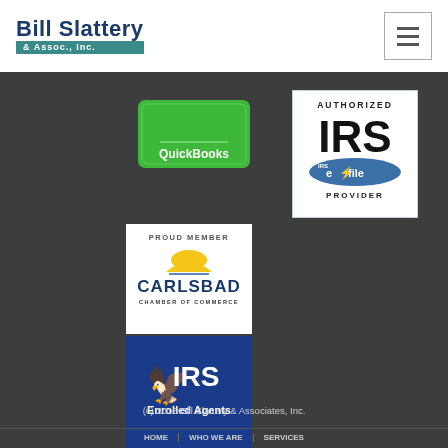[Figure (logo): Bill Slattery & Assoc., Inc. company logo with dark blue and teal colors]
[Figure (logo): QuickBooks green logo badge]
[Figure (logo): Authorized IRS e-file Provider badge with blue and white colors]
[Figure (logo): Proud Member Carlsbad Chamber of Commerce logo]
[Figure (logo): IRS Enrolled Agents badge with dark blue background and eagle emblem]
(c) 2015 Bill Slattery & Associates, Inc.
HOME | WHO WE ARE | SERVICES